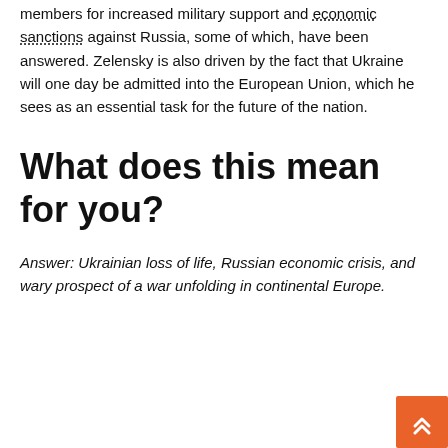members for increased military support and economic sanctions against Russia, some of which, have been answered. Zelensky is also driven by the fact that Ukraine will one day be admitted into the European Union, which he sees as an essential task for the future of the nation.
What does this mean for you?
Answer: Ukrainian loss of life, Russian economic crisis, and wary prospect of a war unfolding in continental Europe.